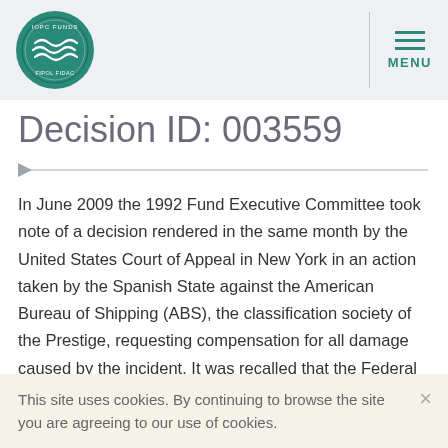IOPC FUNDS FIPOL FIDAC — MENU
Decision ID: 003559
In June 2009 the 1992 Fund Executive Committee took note of a decision rendered in the same month by the United States Court of Appeal in New York in an action taken by the Spanish State against the American Bureau of Shipping (ABS), the classification society of the Prestige, requesting compensation for all damage caused by the incident. It was recalled that the Federal Court of
This site uses cookies. By continuing to browse the site you are agreeing to our use of cookies.